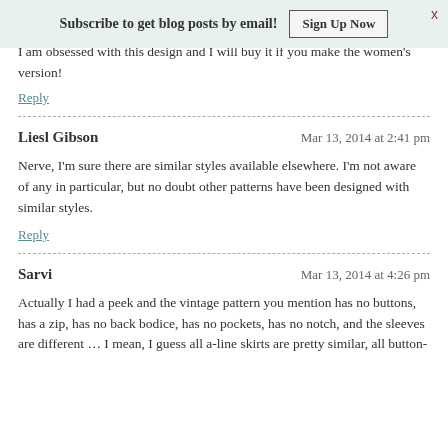Subscribe to get blog posts by email! Sign Up Now
I am obsessed with this design and I will buy it if you make the women's version!
Reply
Liesl Gibson   Mar 13, 2014 at 2:41 pm
Nerve, I'm sure there are similar styles available elsewhere. I'm not aware of any in particular, but no doubt other patterns have been designed with similar styles.
Reply
Sarvi   Mar 13, 2014 at 4:26 pm
Actually I had a peek and the vintage pattern you mention has no buttons, has a zip, has no back bodice, has no pockets, has no notch, and the sleeves are different … I mean, I guess all a-line skirts are pretty similar, all button-